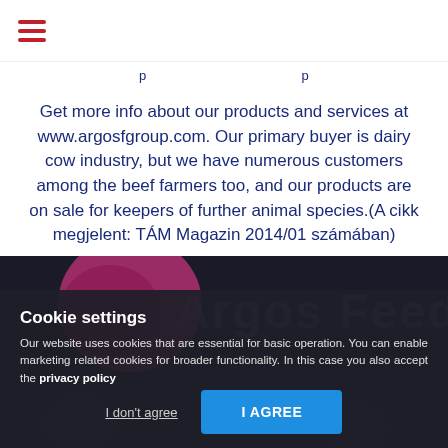Get more info about our products and services at www.argosfgroup.com. Our primary buyer is dairy cow industry, but we have numerous customers among the beef farmers too, and our products are on sale for keepers of further animal species.(A cikk megjelent: TÁM Magazin 2014/01 számában)
[Figure (logo): Argos Feed company logo with pink/magenta circle element and dark background]
Cookie settings
Our website uses cookies that are essential for basic operation. You can enable marketing related cookies for broader functionality. In this case you also accept the privacy policy
I don't agree    I AGREE